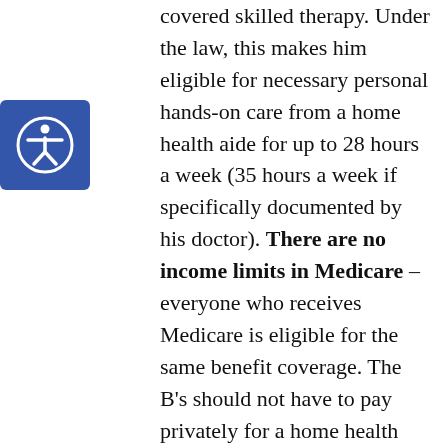covered skilled therapy. Under the law, this makes him eligible for necessary personal hands-on care from a home health aide for up to 28 hours a week (35 hours a week if specifically documented by his doctor). There are no income limits in Medicare – everyone who receives Medicare is eligible for the same benefit coverage. The B's should not have to pay privately for a home health aide for Mr. B's personal hands-on care for up to the hours coverable under the law.
2. Federal Regulations define the kinds of personal hands-on care from a home health aide that are coverable by Medicare (42 CFR 409.45(b)(1)(i)-(v); see definitions, below). The services include getting Mr. B in and out of bed, grooming,